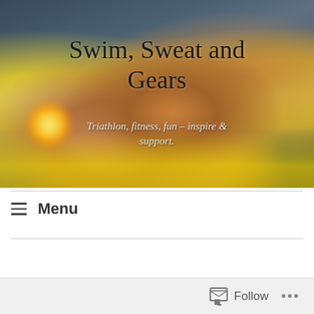[Figure (photo): Header photo of a woman in a yellow hat with skull and crossbones, smiling broadly, wearing a yellow top. A man is visible behind her. There is a glowing light effect at lower left. Blog header image for 'Swim, Sweat and Gears'.]
Swim, Sweat and Gears
Triathlon, fitness, fun – inspire & support.
≡  Menu
Follow  •••